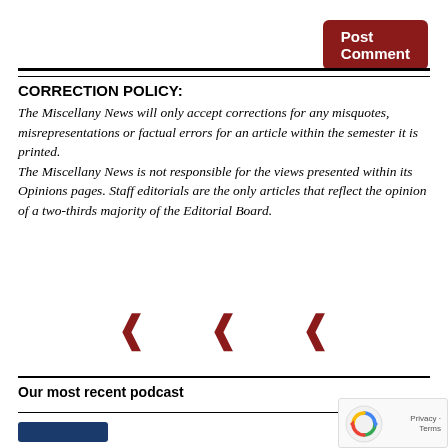Post Comment
CORRECTION POLICY:
The Miscellany News will only accept corrections for any misquotes, misrepresentations or factual errors for an article within the semester it is printed. The Miscellany News is not responsible for the views presented within its Opinions pages. Staff editorials are the only articles that reflect the opinion of a two-thirds majority of the Editorial Board.
[Figure (other): Three red bracket/social icon symbols in a row]
Our most recent podcast
[Figure (other): reCAPTCHA privacy badge with spinning arrows icon and Privacy Terms text]